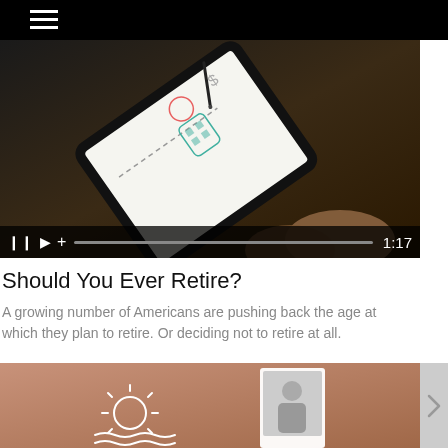Navigation menu
[Figure (screenshot): Video player showing a hand holding a tablet device with an animated drawing on screen. Video controls show pause, play, volume and progress bar with timestamp 1:17.]
Should You Ever Retire?
A growing number of Americans are pushing back the age at which they plan to retire. Or deciding not to retire at all.
[Figure (photo): Partial view of a second video thumbnail showing cards with a sun/beach illustration on a warm tan/coral background.]